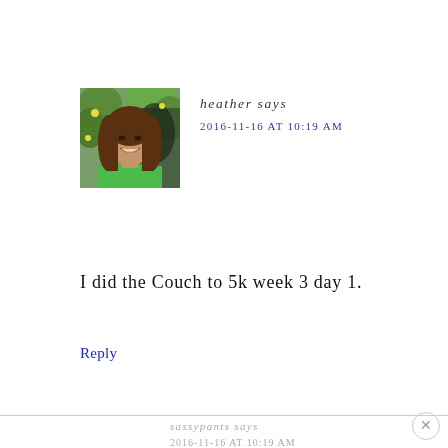[Figure (photo): Profile photo of a woman with long brown hair wearing a green t-shirt, smiling, with green foliage in background]
heather says
2016-11-16 AT 10:19 AM
I did the Couch to 5k week 3 day 1.
Reply
sassypants says
2016-11-16 AT 10:19 AM